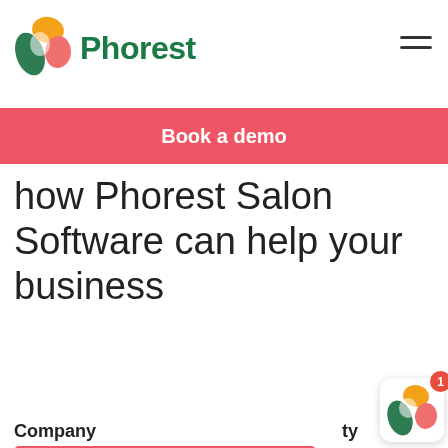Phorest
Book a demo
how Phorest Salon Software can help your business
Book a demo
Salons made an average of $41.8k from SMS & email marketing campaigns through Phorest in the last 3...
Company